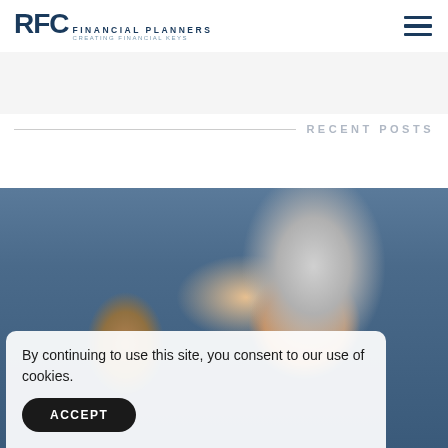RFC Financial Planners - Creating Financial Keys
RECENT POSTS
[Figure (photo): An older woman with grey hair and glasses smiling at a dog (beagle) she is holding, in a warmly lit home interior setting.]
By continuing to use this site, you consent to our use of cookies.
ACCEPT